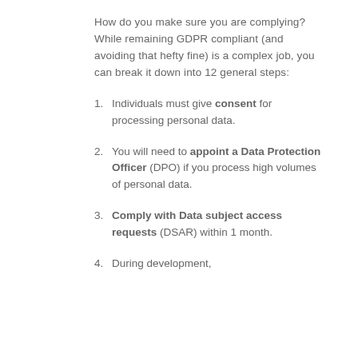How do you make sure you are complying? While remaining GDPR compliant (and avoiding that hefty fine) is a complex job, you can break it down into 12 general steps:
Individuals must give consent for processing personal data.
You will need to appoint a Data Protection Officer (DPO) if you process high volumes of personal data.
Comply with Data subject access requests (DSAR) within 1 month.
During development,